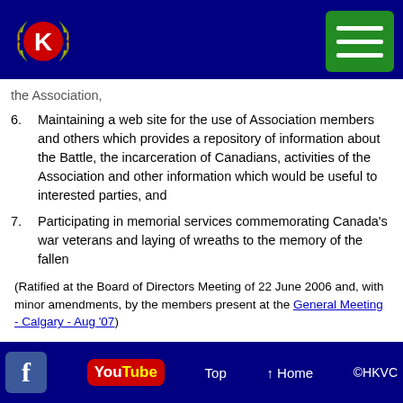HKVC Association website header with logo and navigation menu
the Association,
6. Maintaining a web site for the use of Association members and others which provides a repository of information about the Battle, the incarceration of Canadians, activities of the Association and other information which would be useful to interested parties, and
7. Participating in memorial services commemorating Canada's war veterans and laying of wreaths to the memory of the fallen
(Ratified at the Board of Directors Meeting of 22 June 2006 and, with minor amendments, by the members present at the General Meeting - Calgary - Aug '07)
Top   ↑ Home   ©HKVC